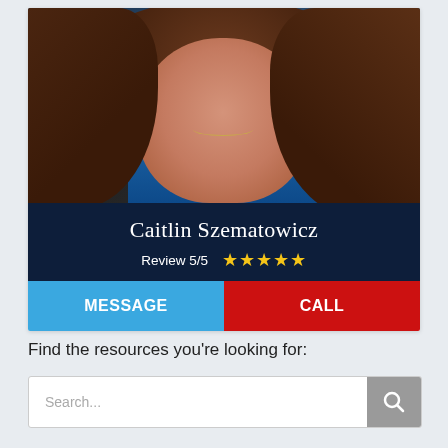[Figure (photo): Professional headshot photo of Caitlin Szematowicz, a woman with long brown wavy hair wearing a black blazer over a blue shirt with a gold necklace, photographed against a dark blue background]
Caitlin Szematowicz
Review 5/5 ★★★★★
MESSAGE
CALL
Find the resources you're looking for:
Search...